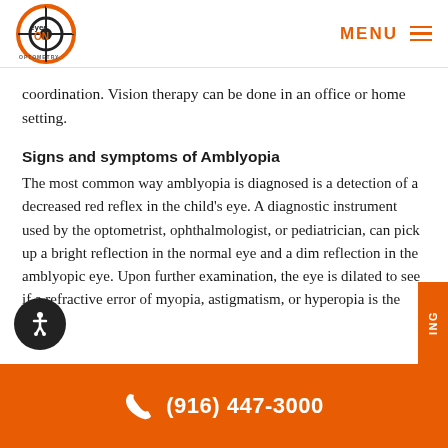[Figure (logo): Eyes On Optometry logo — circular orange and black eye design with text]
MENU ≡
coordination. Vision therapy can be done in an office or home setting.
Signs and symptoms of Amblyopia
The most common way amblyopia is diagnosed is a detection of a decreased red reflex in the child's eye. A diagnostic instrument used by the optometrist, ophthalmologist, or pediatrician, can pick up a bright reflection in the normal eye and a dim reflection in the amblyopic eye. Upon further examination, the eye is dilated to see if a refractive error of myopia, astigmatism, or hyperopia is the cause.
(916) 447-3000